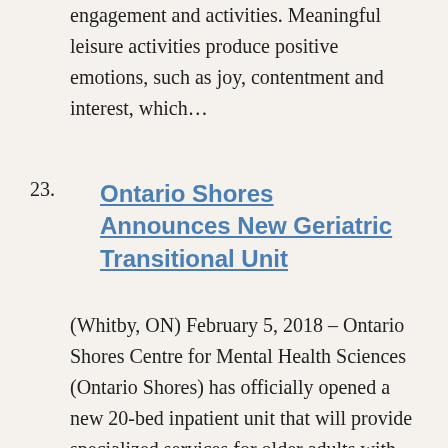engagement and activities. Meaningful leisure activities produce positive emotions, such as joy, contentment and interest, which…
23. Ontario Shores Announces New Geriatric Transitional Unit
(Whitby, ON) February 5, 2018 – Ontario Shores Centre for Mental Health Sciences (Ontario Shores) has officially opened a new 20-bed inpatient unit that will provide specialized services for older adults with dementia, presenting with complex behaviours, who are currently in an acute care hospital…